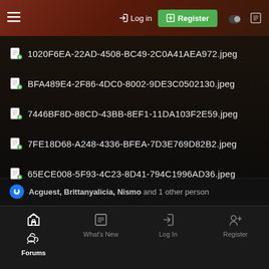[Figure (screenshot): Mobile web forum navigation bar with hamburger menu, Log in button, green Register button, dark mode toggle, and document icon on a dark red/brown gradient background]
1020F6EA-22AD-4508-BC49-2C0A41AEA972.jpeg
BFA489E4-2F86-4DC0-8002-9DE3C0502130.jpeg
7446BF8D-88CD-43BB-8EF1-11DA103F2E59.jpeg
7FE18D68-A248-4336-BFEA-7D3E769D82B2.jpeg
65ECE008-5F93-4C23-8D41-794C1996AD36.jpeg
Acguest, Brittanyalicia, Nismo and 1 other person
[Figure (screenshot): Mobile bottom navigation bar with Forums (active), What's New, Log In, and Register tabs with icons]